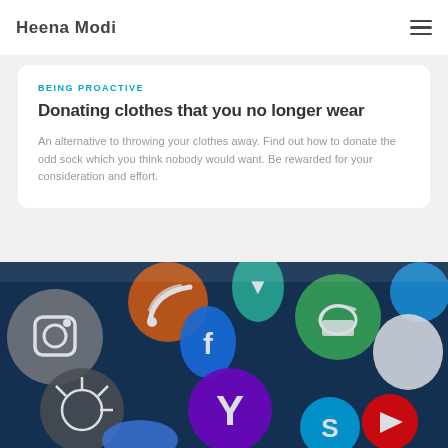Heena Modi
BEING PROACTIVE
Donating clothes that you no longer wear
An alternative to throwing your clothes away. Find out how to donate the odd sock which you think nobody would want. Be rewarded for your consideration and effort.
[Figure (photo): Close-up photo of various colorful social media app icons (Instagram, Facebook, Twitter, Yahoo, Android, Skype, YouTube, Google Drive, Apple, and others) arranged on a dark blue background.]